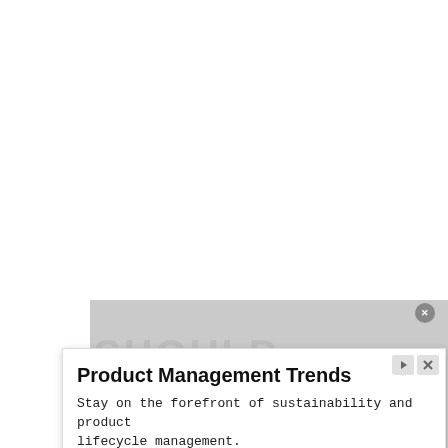[Figure (screenshot): A screenshot of a web page showing a video player area with 'No compatible source was found for this media.' message, overlaid with watermark text 'SHOULD', 'X', '5', 'Best Answers' in light gray. An advertisement overlay is present showing 'Product Management Trends' ad from psx.org with a 'Learn More' call-to-action button.]
Product Management Trends
Stay on the forefront of sustainability and product lifecycle management.
psx.org